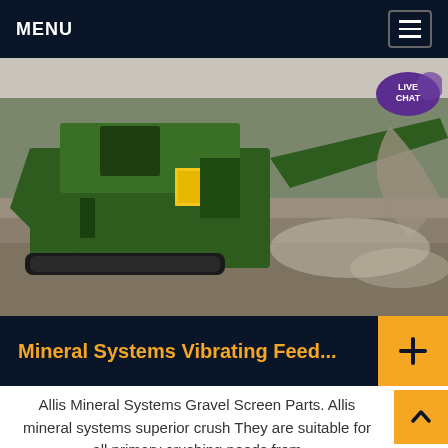MENU
[Figure (photo): Large green mobile jaw crusher/screener machine operating in a gravel quarry, with trees in the background and crushed stone flowing from a conveyor belt.]
Mineral Systems Vibrating Feed...
Allis Mineral Systems Gravel Screen Parts. Allis mineral systems superior crush They are suitable for all primary crushing needs from